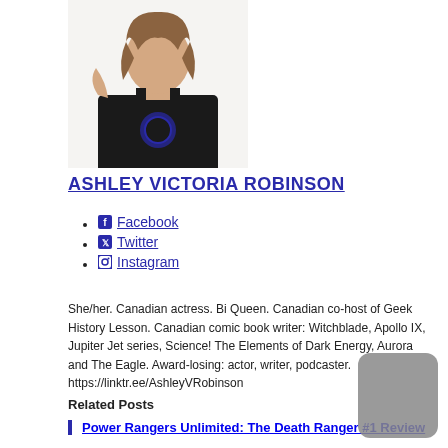[Figure (photo): Headshot photo of Ashley Victoria Robinson, a young woman with long brown hair wearing a black tank top, posed against a white background.]
ASHLEY VICTORIA ROBINSON
Facebook
Twitter
Instagram
She/her. Canadian actress. Bi Queen. Canadian co-host of Geek History Lesson. Canadian comic book writer: Witchblade, Apollo IX, Jupiter Jet series, Science! The Elements of Dark Energy, Aurora and The Eagle. Award-losing: actor, writer, podcaster. https://linktr.ee/AshleyVRobinson
Related Posts
Power Rangers Unlimited: The Death Ranger #1 Review
Read More
Thunderbolts #1 Review
Read More